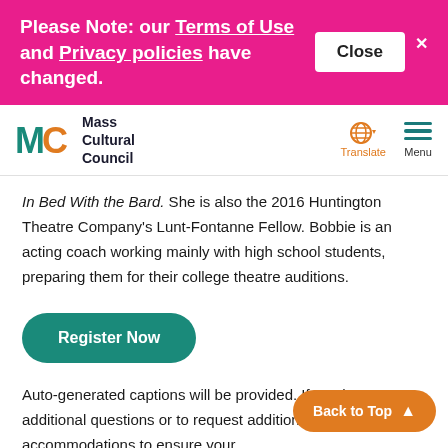Please Note: our Terms of Use and Privacy policies have changed.
Close
[Figure (logo): Mass Cultural Council logo with MC letters and orange/teal design]
Translate
Menu
In Bed With the Bard. She is also the 2016 Huntington Theatre Company's Lunt-Fontanne Fellow. Bobbie is an acting coach working mainly with high school students, preparing them for their college theatre auditions.
Register Now
Auto-generated captions will be provided. If you have additional questions or to request additional accommodations to ensure your
Back to Top